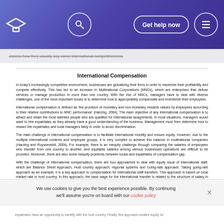Get help now
International Compensation
In today's increasingly competitive environment, businesses are globalizing their firms in order to maximize their profitability and compete effectively. This has led to an increase in Multinational Corporations (MNCs), which are enterprises that deliver services or manage production in more than one country. With the rise of MNCs, managers have to deal with diverse challenges, one of the most important issues is to determine how to appropriately compensate and incentivize their employees.
International compensation is defined as 'the provision of monetary and non-monetary rewards valued by employees according to their relative contributions to MNC performance' (Harzing, 2004). The main objective of any international compensation is to attract and retain the most talented people who are qualified for international assignments. In most situations, managers would want to hire expatriates as they already have a good understanding of the business. Management must then determine how to reward the expatriates and local managers fairly in order to avoid discrimination.
The main challenge in international compensation is to facilitate international mobility and ensure equity. However, due to the multiple international contexts and employee groups, it is very complex to achieve this balance in multinational companies (Harzing and Ruysseveldt, 2004). For example, there is an inequity challenge through comparing the salaries of employees who transfer from one country to another, and equitable salaries among various businesses operations are difficult to be provided. Moreover, there are also some inequity problems between locals and expatriates of compensation gap.
With the challenge of international compensation, there are four approaches to deal with equity issue of international staff, which are Balance Sheet Approach, Host country approach, regional systems and Going-rate approach. Taking going-rate approach as an example, it is a key approach to compensation for international staff transfers. This approach is based on local market rate in host country. In this approach, the base wage for the international transfer is related to the structure of salary in the host country.
MNCs often gains information from the surveys of local compensation in order to decide the benchmarking by comparing local nationals, expatriates of same nationality, and expatriates of all nationalities. Then MNCs
expatriates have an opportunity to identify with the host country. Finally, this approach creates equity for